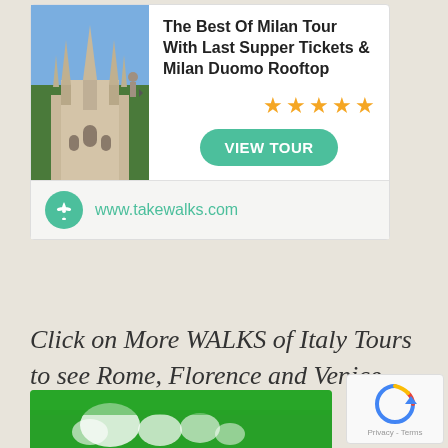[Figure (other): Advertisement card for 'The Best Of Milan Tour With Last Supper Tickets & Milan Duomo Rooftop' showing a cathedral photo, 5 star rating, VIEW TOUR button, and www.takewalks.com URL with fleur-de-lis logo]
Click on More WALKS of Italy Tours to see Rome, Florence and Venice
More WALKS of Italy Tours
[Figure (photo): Green background image at the bottom of the page, partially visible]